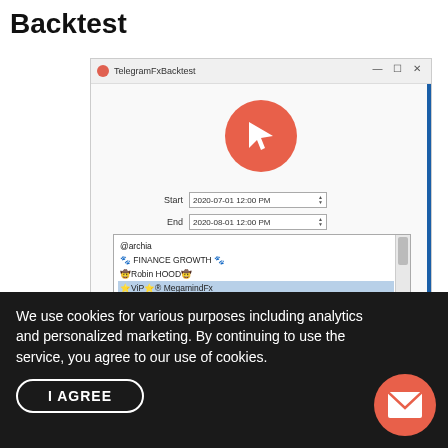Backtest
[Figure (screenshot): TelegramFxBacktest application window showing a logo (orange circle with white cursor icon), Start date field (2020-07-01 12:00 PM), End date field (2020-08-01 12:00 PM), and a list box with channels including @archia, FINANCE GROWTH, Robin HOOD, ViP MegamindFx (selected/highlighted in blue), Aaa, Aas, Aaaa, Aaaaa, and partially visible last item. A vertical blue bar on the right edge of the window.]
We use cookies for various purposes including analytics and personalized marketing. By continuing to use the service, you agree to our use of cookies.
I AGREE